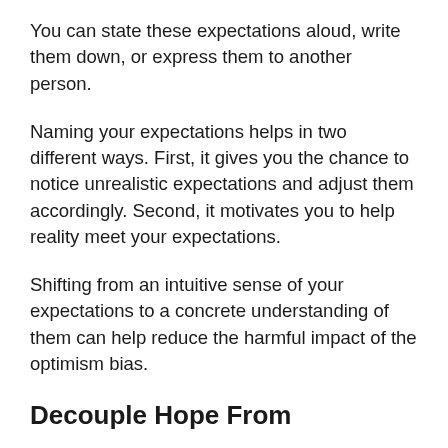You can state these expectations aloud, write them down, or express them to another person.
Naming your expectations helps in two different ways. First, it gives you the chance to notice unrealistic expectations and adjust them accordingly. Second, it motivates you to help reality meet your expectations.
Shifting from an intuitive sense of your expectations to a concrete understanding of them can help reduce the harmful impact of the optimism bias.
Decouple Hope From